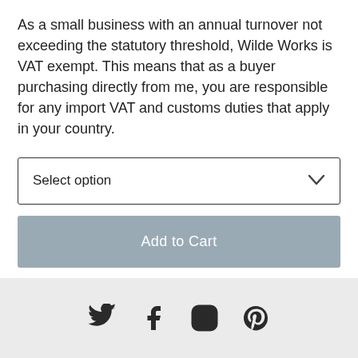As a small business with an annual turnover not exceeding the statutory threshold, Wilde Works is VAT exempt. This means that as a buyer purchasing directly from me, you are responsible for any import VAT and customs duties that apply in your country.
Select option
Add to Cart
[Figure (other): Inline social sharing icons: Twitter bird, Facebook f, Pinterest p]
Footer with social media icons: Twitter, Facebook, Instagram, Pinterest